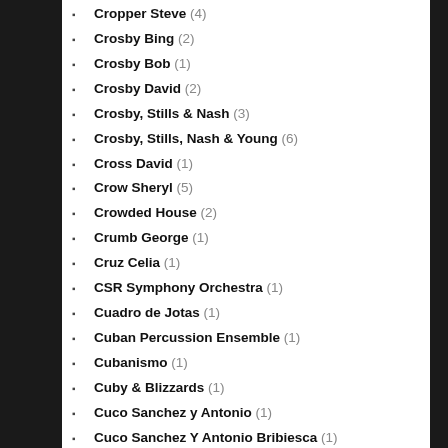Cropper Steve (4)
Crosby Bing (2)
Crosby Bob (1)
Crosby David (2)
Crosby, Stills & Nash (3)
Crosby, Stills, Nash & Young (6)
Cross David (1)
Crow Sheryl (5)
Crowded House (2)
Crumb George (1)
Cruz Celia (1)
CSR Symphony Orchestra (1)
Cuadro de Jotas (1)
Cuban Percussion Ensemble (1)
Cubanismo (1)
Cuby & Blizzards (1)
Cuco Sanchez y Antonio (1)
Cuco Sanchez Y Antonio Bribiesca (1)
Culture Club (1)
Cuppini Gilberto (1)
Curry Tim (1)
Curtis Betty (1)